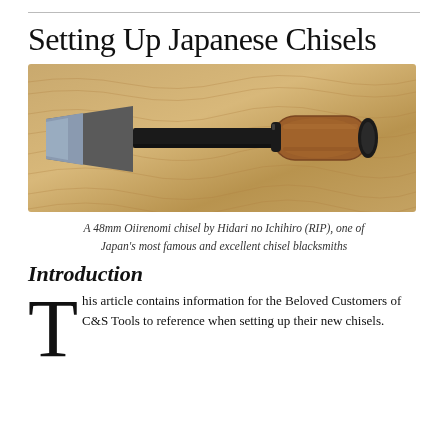Setting Up Japanese Chisels
[Figure (photo): A 48mm Oiirenomi chisel (Japanese bench chisel) with a broad flat black iron blade, long black metal shank, brown wooden handle with black ferrule at the top, photographed on a background of figured wood with wavy grain pattern.]
A 48mm Oiirenomi chisel by Hidari no Ichihiro (RIP), one of Japan's most famous and excellent chisel blacksmiths
Introduction
This article contains information for the Beloved Customers of C&S Tools to reference when setting up their new chisels.